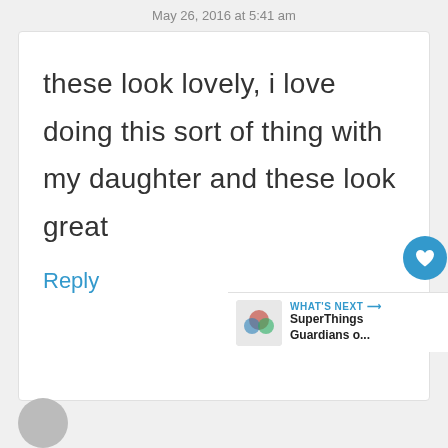May 26, 2016 at 5:41 am
these look lovely, i love doing this sort of thing with my daughter and these look great
Reply
[Figure (screenshot): What's Next bar with SuperThings Guardians o... thumbnail]
[Figure (photo): User avatar circle partially visible at bottom left]